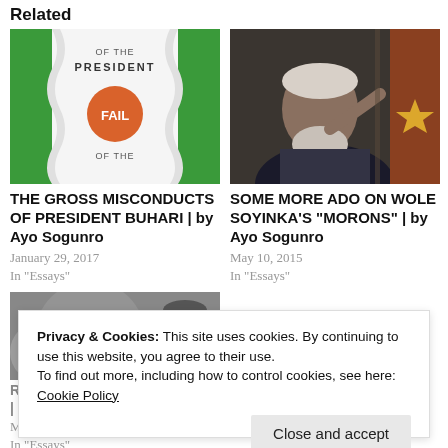Related
[Figure (illustration): Book cover with Nigerian flag colors (green and white), orange circle with 'FAIL' text, title 'OF THE PRESIDENT']
THE GROSS MISCONDUCTS OF PRESIDENT BUHARI | by Ayo Sogunro
January 29, 2017
In "Essays"
[Figure (photo): Photo of Wole Soyinka, an elderly man with white hair and beard gesturing with hands]
SOME MORE ADO ON WOLE SOYINKA'S “MORONS” | by Ayo Sogunro
May 10, 2015
In "Essays"
[Figure (photo): Grayscale photo with cursive text 'The' overlaid, person wearing glasses visible]
RECONSIDERING BIAFRA | by Ayo Sogunro
May 31, 2016
In "Essays"
Privacy & Cookies: This site uses cookies. By continuing to use this website, you agree to their use.
To find out more, including how to control cookies, see here: Cookie Policy
Close and accept